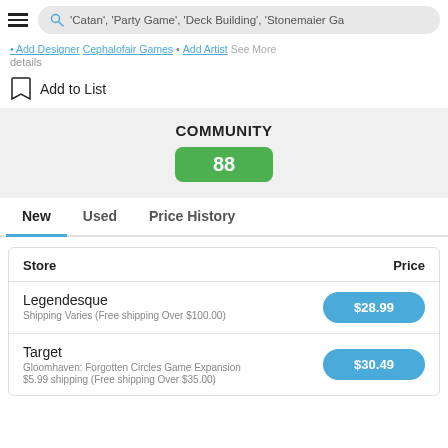'Catan', 'Party Game', 'Deck Building', 'Stonemaier Ga...'
• Add Designer Cephalofair Games • Add Artist See More details
Add to List
COMMUNITY
88
New  Used  Price History
| Store | Price |
| --- | --- |
| Legendesque
Shipping Varies (Free shipping Over $100.00) | $28.99 |
| Target
Gloomhaven: Forgotten Circles Game Expansion
$5.99 shipping (Free shipping Over $35.00) | $30.49 |